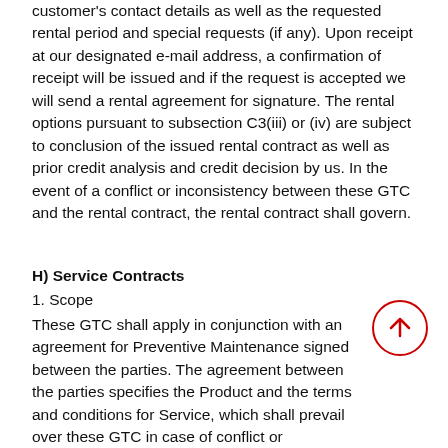customer's contact details as well as the requested rental period and special requests (if any). Upon receipt at our designated e-mail address, a confirmation of receipt will be issued and if the request is accepted we will send a rental agreement for signature. The rental options pursuant to subsection C3(iii) or (iv) are subject to conclusion of the issued rental contract as well as prior credit analysis and credit decision by us. In the event of a conflict or inconsistency between these GTC and the rental contract, the rental contract shall govern.
H) Service Contracts
1. Scope
These GTC shall apply in conjunction with an agreement for Preventive Maintenance signed between the parties. The agreement between the parties specifies the Product and the terms and conditions for Service, which shall prevail over these GTC in case of conflict or inconsistency.
2. Prerequisites for the price